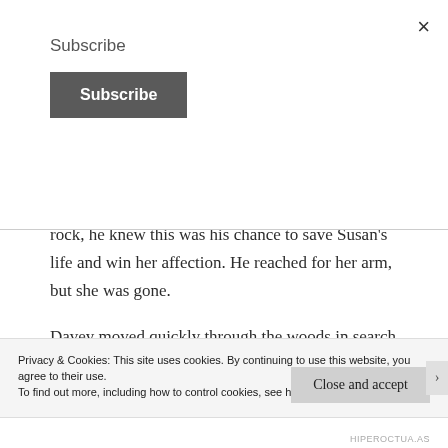Subscribe
Subscribe
cars with people fleeing. As the troll raised another rock, he knew this was his chance to save Susan's life and win her affection. He reached for her arm, but she was gone.
Davey moved quickly through the woods in search of his friend, but she was nowhere in sight. He wondered
Privacy & Cookies: This site uses cookies. By continuing to use this website, you agree to their use.
To find out more, including how to control cookies, see here: Cookie Policy
Close and accept
HIPEROCTUA.AS